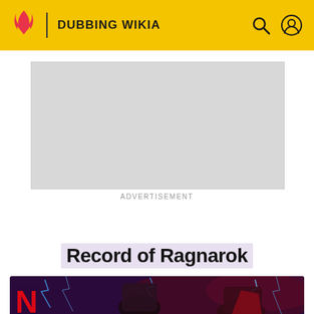DUBBING WIKIA
[Figure (screenshot): Advertisement placeholder - grey rectangle]
ADVERTISEMENT
DUBBING WIKIA
Record of Ragnarok
[Figure (illustration): Record of Ragnarok anime key art showing fighters with lightning effect and Netflix logo]